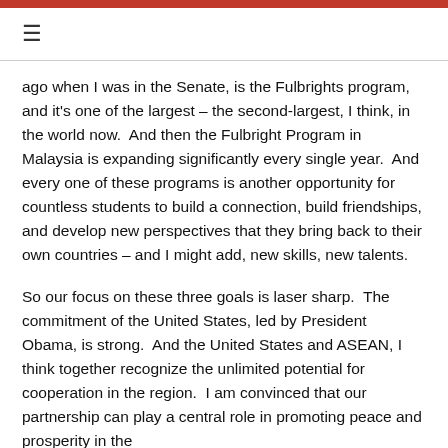≡
ago when I was in the Senate, is the Fulbrights program, and it's one of the largest – the second-largest, I think, in the world now.  And then the Fulbright Program in Malaysia is expanding significantly every single year.  And every one of these programs is another opportunity for countless students to build a connection, build friendships, and develop new perspectives that they bring back to their own countries – and I might add, new skills, new talents.
So our focus on these three goals is laser sharp.  The commitment of the United States, led by President Obama, is strong.  And the United States and ASEAN, I think together recognize the unlimited potential for cooperation in the region.  I am convinced that our partnership can play a central role in promoting peace and prosperity in the